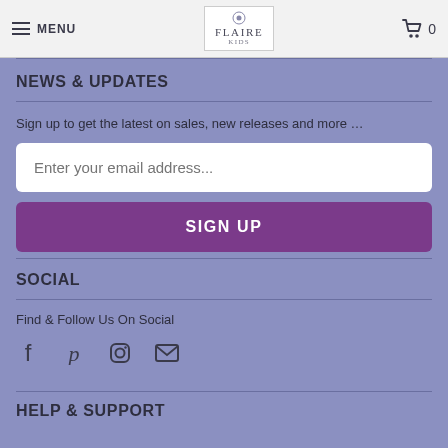MENU | FLAIRE | 0
NEWS & UPDATES
Sign up to get the latest on sales, new releases and more …
Enter your email address...
SIGN UP
SOCIAL
Find & Follow Us On Social
[Figure (illustration): Social media icons: Facebook, Pinterest, Instagram, Email]
HELP & SUPPORT